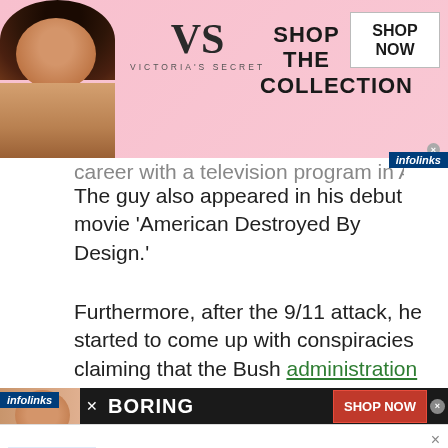[Figure (illustration): Victoria's Secret advertisement banner with woman model, VS logo, 'SHOP THE COLLECTION' text, and 'SHOP NOW' button]
career with a television program in Aust...
The guy also appeared in his debut movie 'American Destroyed By Design.'
Furthermore, after the 9/11 attack, he started to come up with conspiracies claiming that the Bush administration was behind the 9/11 attack. This theory cost him a fortune, as he was made to drop his program. Moreover, Jones also addressed the al media during the annual Bilderberg
[Figure (illustration): Bottom advertisement bar showing a face and 'BORING' text with 'SHOP NOW' button]
[Figure (illustration): Sponsored ad: 'The First Signs of Lung Cancer (Write These Down)' from Lung, Sponsored, with illustration of person being struck by lightning]